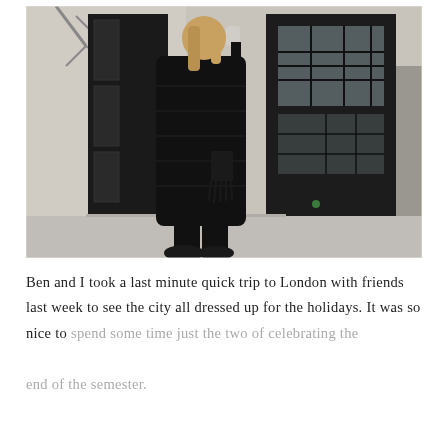[Figure (photo): A person wearing a long black puffer coat, black leggings, and black sneakers, standing in the doorway of a classic black London telephone box. They are holding a cup and have a black bag. The street and a vehicle are visible in the background.]
Ben and I took a last minute quick trip to London with friends last week to see the city all dressed up for the holidays. It was so nice to spend some time just the two of celebrating the end of the semester.